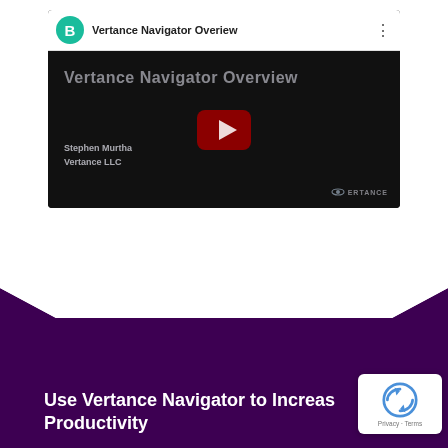[Figure (screenshot): YouTube video thumbnail for 'Vertance Navigator Overview' by Stephen Murtha, Vertance LLC. Dark background with play button, overlay text showing title and creator.]
[Figure (illustration): Dark purple chevron/arrow pointing downward, forming a decorative section divider on a white background transitioning to a dark purple footer band.]
Use Vertance Navigator to Increase Productivity